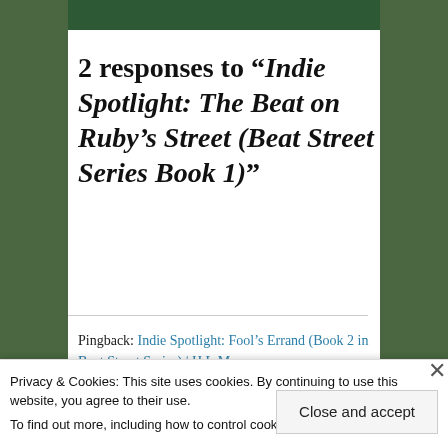[Figure (photo): Top dark green image bar, partial book/blog header image]
2 responses to “Indie Spotlight: The Beat on Ruby’s Street (Beat Street Series Book 1)”
Pingback: Indie Spotlight: Fool’s Errand (Book 2 in Beat Street Series) | H.L.M.
Privacy & Cookies: This site uses cookies. By continuing to use this website, you agree to their use.
To find out more, including how to control cookies, see here: Cookie Policy
Close and accept